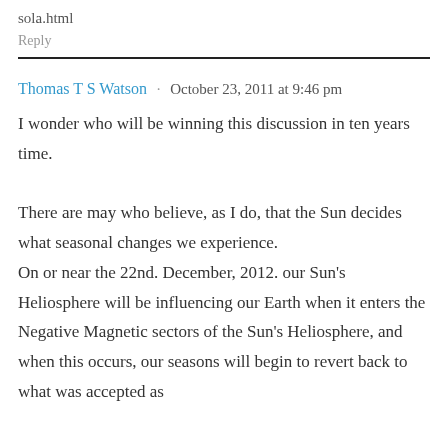sola.html
Reply
Thomas T S Watson · October 23, 2011 at 9:46 pm
I wonder who will be winning this discussion in ten years time.

There are may who believe, as I do, that the Sun decides what seasonal changes we experience. On or near the 22nd. December, 2012. our Sun's Heliosphere will be influencing our Earth when it enters the Negative Magnetic sectors of the Sun's Heliosphere, and when this occurs, our seasons will begin to revert back to what was accepted as